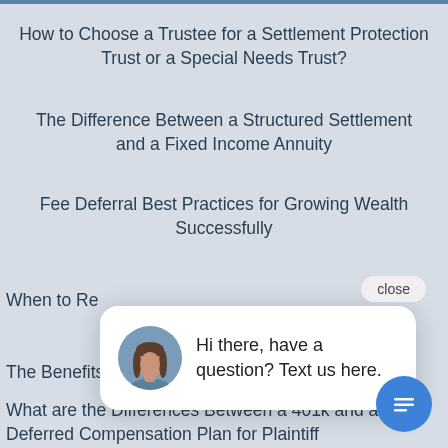How to Choose a Trustee for a Settlement Protection Trust or a Special Needs Trust?
The Difference Between a Structured Settlement and a Fixed Income Annuity
Fee Deferral Best Practices for Growing Wealth Successfully
When to Re…
[Figure (screenshot): Chat popup with avatar photo of a woman and text: Hi there, have a question? Text us here. With a close button.]
The Benefits of a Structured Settlement Annuity
What are the Differences Between a 401k and a Deferred Compensation Plan for Plaintiff